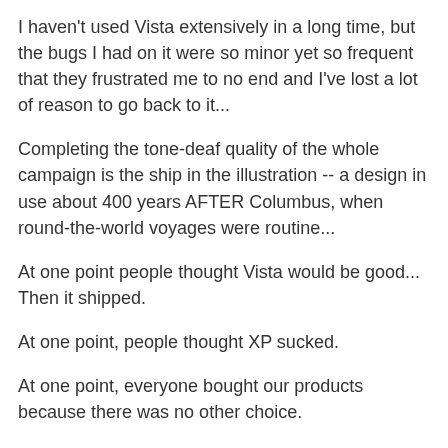I haven't used Vista extensively in a long time, but the bugs I had on it were so minor yet so frequent that they frustrated me to no end and I've lost a lot of reason to go back to it...
Completing the tone-deaf quality of the whole campaign is the ship in the illustration -- a design in use about 400 years AFTER Columbus, when round-the-world voyages were routine...
At one point people thought Vista would be good... Then it shipped.
At one point, people thought XP sucked.
At one point, everyone bought our products because there was no other choice.
So i go to microsoft.com and it tells me i should install Silverlight. ok. i download and try to install it. installer tells me i already have a 'newer' version installed. original page still says i should